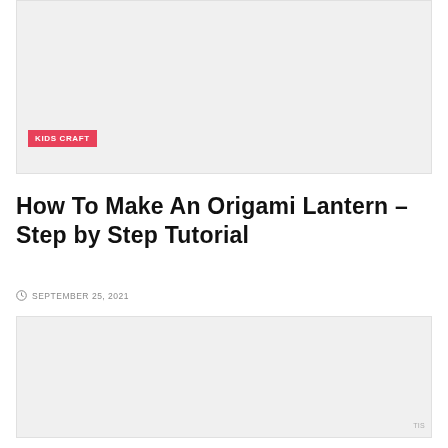[Figure (photo): Top banner image area with light gray background]
KIDS CRAFT
How To Make An Origami Lantern – Step by Step Tutorial
SEPTEMBER 25, 2021
[Figure (photo): Large content image area with light gray background]